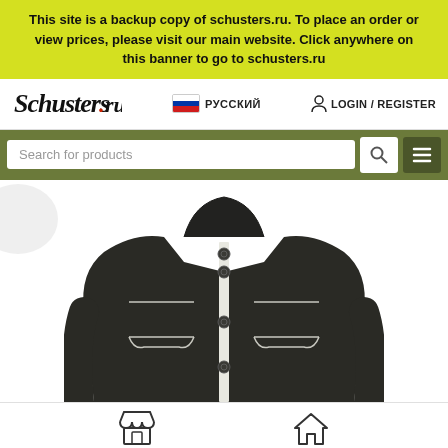This site is a backup copy of schusters.ru. To place an order or view prices, please visit our main website. Click anywhere on this banner to go to schusters.ru
[Figure (logo): Schusters.ru logo in italic script with red dot]
РУССКИЙ
LOGIN / REGISTER
Search for products
[Figure (photo): Dark olive/black knit jacket with silver button placket and two chest pockets with silver piping trim, shown from neck to torso on white background]
Store icon and Home icon navigation footer